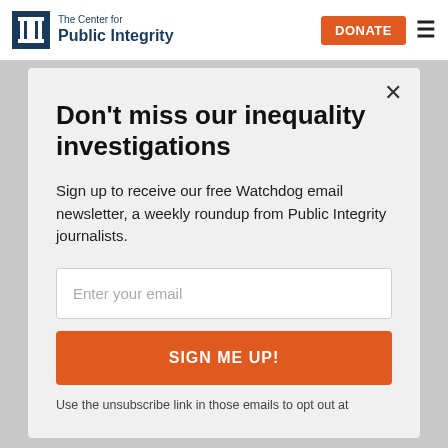The Center for Public Integrity | DONATE
Don't miss our inequality investigations
Sign up to receive our free Watchdog email newsletter, a weekly roundup from Public Integrity journalists.
Enter your email
SIGN ME UP!
Use the unsubscribe link in those emails to opt out at
Spreading funding strategically